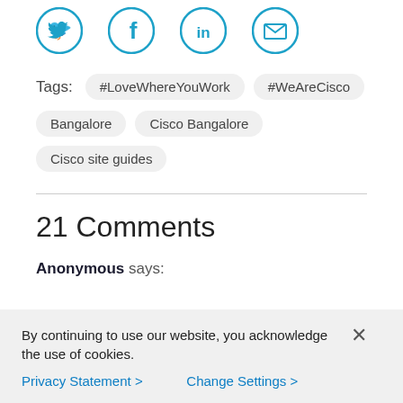[Figure (illustration): Four social media share icons in blue circles: Twitter bird, Facebook f, LinkedIn in, and email envelope]
Tags:  #LoveWhereYouWork  #WeAreCisco  Bangalore  Cisco Bangalore  Cisco site guides
21 Comments
Anonymous says:
By continuing to use our website, you acknowledge the use of cookies.
Privacy Statement >   Change Settings >